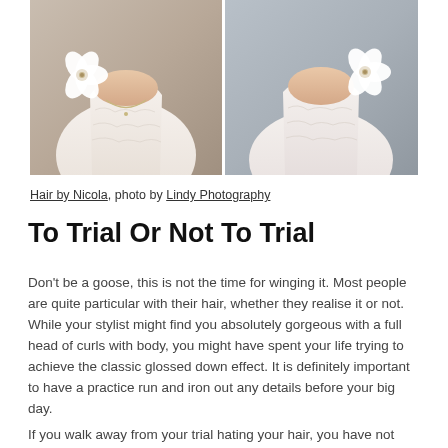[Figure (photo): Two side-by-side photos of a bride wearing a white strapless lace dress with a large white flower accessory on the shoulder. Left photo shows front view, right photo shows a slightly different angle.]
Hair by Nicola, photo by Lindy Photography
To Trial Or Not To Trial
Don't be a goose, this is not the time for winging it. Most people are quite particular with their hair, whether they realise it or not. While your stylist might find you absolutely gorgeous with a full head of curls with body, you might have spent your life trying to achieve the classic glossed down effect. It is definitely important to have a practice run and iron out any details before your big day.
If you walk away from your trial hating your hair, you have not communicated properly with your hair stylist